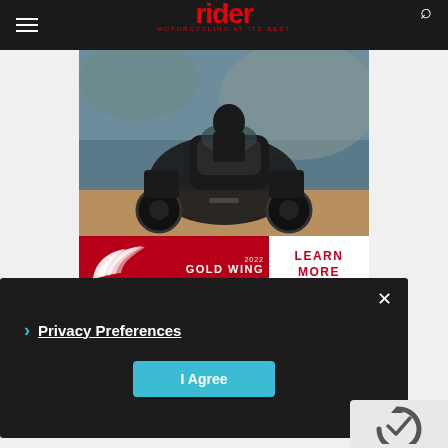rider — MOTORCYCLING AT ITS BEST
[Figure (photo): Motorcycle rider on a Honda Gold Wing touring bike on a road with rocky background]
[Figure (illustration): Honda 2022 Gold Wing advertisement banner with Honda wing logo on red background and LEARN MORE button on white]
[Figure (photo): Dark background image with text HIT THE OPEN partially visible]
Privacy Preferences
I Agree